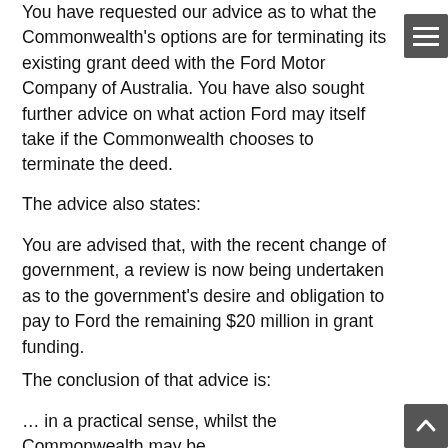You have requested our advice as to what the Commonwealth's options are for terminating its existing grant deed with the Ford Motor Company of Australia. You have also sought further advice on what action Ford may itself take if the Commonwealth chooses to terminate the deed.
The advice also states:
You are advised that, with the recent change of government, a review is now being undertaken as to the government's desire and obligation to pay to Ford the remaining $20 million in grant funding.
The conclusion of that advice is:
… in a practical sense, whilst the Commonwealth may be